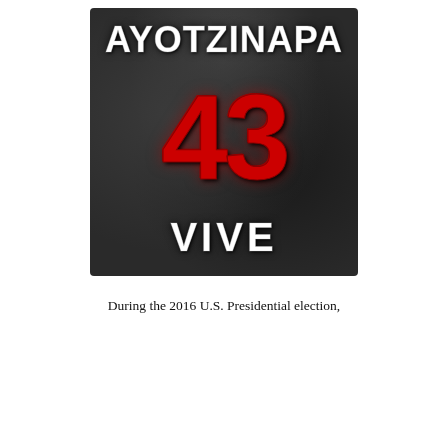[Figure (illustration): Dark smoky background image with bold white text 'AYOTZINAPA' at top, large red distressed '43' in center, and bold white text 'VIVE' at bottom.]
During the 2016 U.S. Presidential election,